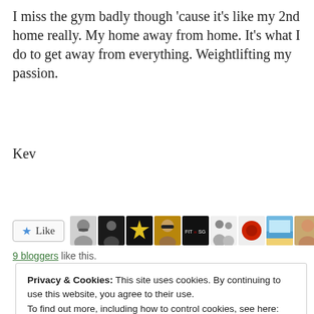I miss the gym badly though 'cause it's like my 2nd home really. My home away from home. It's what I do to get away from everything. Weightlifting my passion.
Kev
[Figure (other): Like button with star icon and a row of 9 blogger avatar thumbnails]
9 bloggers like this.
Privacy & Cookies: This site uses cookies. By continuing to use this website, you agree to their use. To find out more, including how to control cookies, see here: Cookie Policy
Close and accept